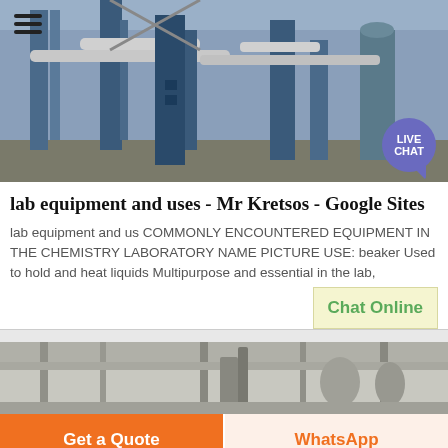[Figure (photo): Industrial facility or plant with blue metal structures, pipes, and equipment. Hamburger menu icon in top-left. Live Chat speech bubble in bottom-right.]
lab equipment and uses - Mr Kretsos - Google Sites
lab equipment and us COMMONLY ENCOUNTERED EQUIPMENT IN THE CHEMISTRY LABORATORY NAME PICTURE USE: beaker Used to hold and heat liquids Multipurpose and essential in the lab,
Chat Online
[Figure (photo): Industrial or laboratory facility interior, greyscale/muted tones showing equipment and structures.]
Get a Quote
WhatsApp